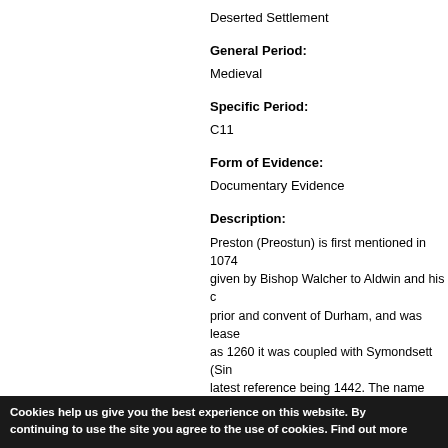Deserted Settlement
General Period:
Medieval
Specific Period:
C11
Form of Evidence:
Documentary Evidence
Description:
Preston (Preostun) is first mentioned in 1074 given by Bishop Walcher to Aldwin and his c prior and convent of Durham, and was lease as 1260 it was coupled with Symondsett (Sin latest reference being 1442. The name even subsumed into Simonside. John Hodgson in the east side of the Dor...
Cookies help us give you the best experience on this website. By continuing to use the site you agree to the use of cookies. Find out more